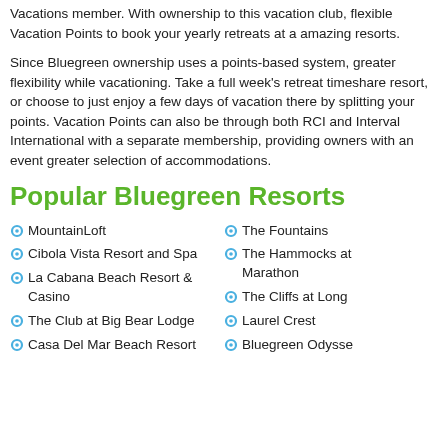Vacations member. With ownership to this vacation club, flexible Vacation Points to book your yearly retreats at a amazing resorts.
Since Bluegreen ownership uses a points-based system, greater flexibility while vacationing. Take a full week's retreat timeshare resort, or choose to just enjoy a few days of vacation there by splitting your points. Vacation Points can also be through both RCI and Interval International with a separate membership, providing owners with an event greater selection of accommodations.
Popular Bluegreen Resorts
MountainLoft
Cibola Vista Resort and Spa
La Cabana Beach Resort & Casino
The Club at Big Bear Lodge
Casa Del Mar Beach Resort
The Fountains
The Hammocks at Marathon
The Cliffs at Long
Laurel Crest
Bluegreen Odyssey